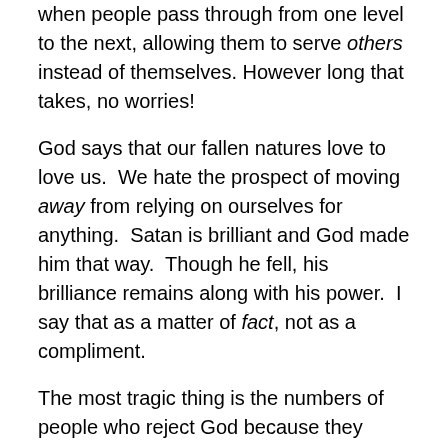when people pass through from one level to the next, allowing them to serve others instead of themselves. However long that takes, no worries!
God says that our fallen natures love to love us. We hate the prospect of moving away from relying on ourselves for anything. Satan is brilliant and God made him that way. Though he fell, his brilliance remains along with his power. I say that as a matter of fact, not as a compliment.
The most tragic thing is the numbers of people who reject God because they believe that Satan peddles truth. Of course, just as tragic is the fact that these same people reject God because they want to reject Him. They have no love for the truth. Paul makes it abundantly clear when he states, “The coming of the lawless one will be in accordance with how Satan works. He will use all sorts of displays of power through signs and wonders that